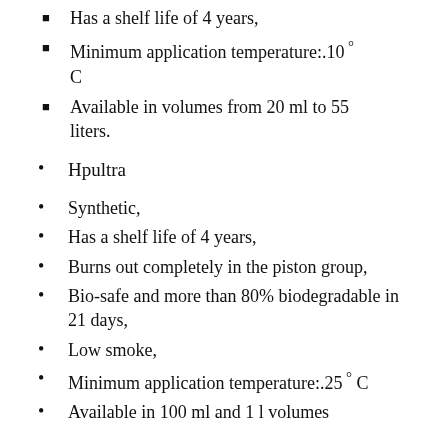Has a shelf life of 4 years,
Minimum application temperature:.10 ° C
Available in volumes from 20 ml to 55 liters.
Hpultra
Synthetic,
Has a shelf life of 4 years,
Burns out completely in the piston group,
Bio-safe and more than 80% biodegradable in 21 days,
Low smoke,
Minimum application temperature:.25 ° C
Available in 100 ml and 1 l volumes